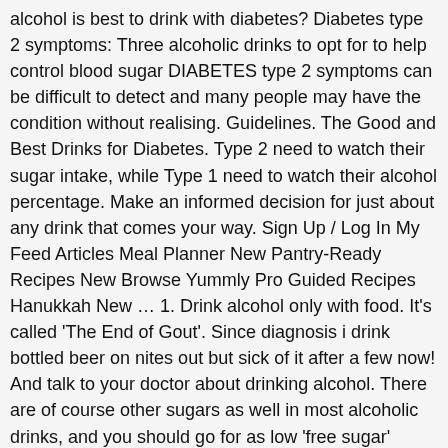alcohol is best to drink with diabetes? Diabetes type 2 symptoms: Three alcoholic drinks to opt for to help control blood sugar DIABETES type 2 symptoms can be difficult to detect and many people may have the condition without realising. Guidelines. The Good and Best Drinks for Diabetes. Type 2 need to watch their sugar intake, while Type 1 need to watch their alcohol percentage. Make an informed decision for just about any drink that comes your way. Sign Up / Log In My Feed Articles Meal Planner New Pantry-Ready Recipes New Browse Yummly Pro Guided Recipes Hanukkah New … 1. Drink alcohol only with food. It's called 'The End of Gout'. Since diagnosis i drink bottled beer on nites out but sick of it after a few now! And talk to your doctor about drinking alcohol. There are of course other sugars as well in most alcoholic drinks, and you should go for as low 'free sugar' levels as you can find: very dry wines, German 'Diät' pils beers, and if you must have spirits then vodka + sugarfree mixer. (vodka, whiskey, gin, etc.) Low-fat chocolate milk can be a good post-workout recovery drink. What Alcohol Is